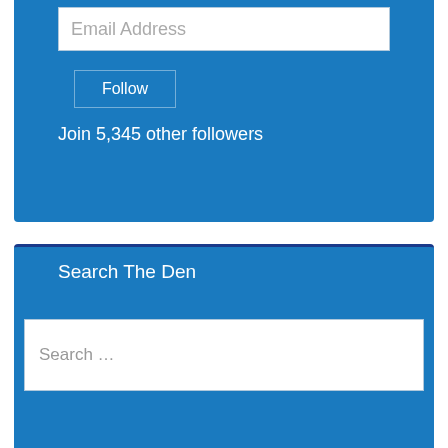posts by email.
Email Address
Follow
Join 5,345 other followers
Search The Den
Search …